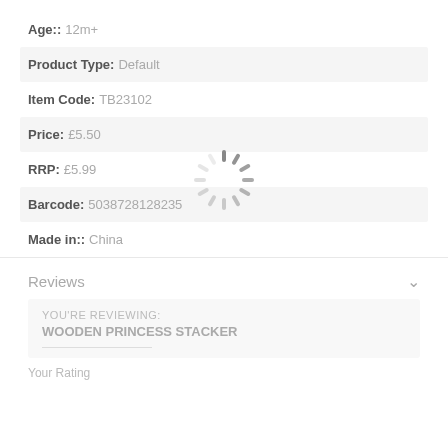Age:: 12m+
Product Type: Default
Item Code: TB23102
Price: £5.50
RRP: £5.99
Barcode: 5038728128235
Made in:: China
[Figure (other): Loading spinner overlay icon (rotating spokes)]
Reviews
YOU'RE REVIEWING:
WOODEN PRINCESS STACKER
Your Rating